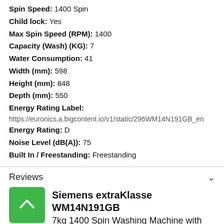Spin Speed: 1400 Spin
Child lock: Yes
Max Spin Speed (RPM): 1400
Capacity (Wash) (KG): 7
Water Consumption: 41
Width (mm): 598
Height (mm): 848
Depth (mm): 550
Energy Rating Label:
https://euronics.a.bigcontent.io/v1/static/296WM14N191GB_en
Energy Rating: D
Noise Level (dB(A)): 75
Built In / Freestanding: Freestanding
Reviews
Siemens extraKlasse WM14N191GB
7kg 1400 Spin Washing Machine with